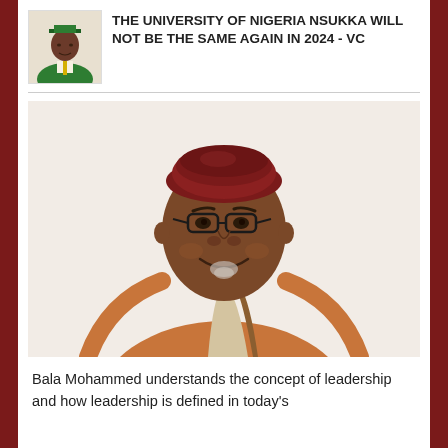THE UNIVERSITY OF NIGERIA NSUKKA WILL NOT BE THE SAME AGAIN IN 2024 - VC
[Figure (photo): Portrait photo of Bala Mohammed, a man wearing a dark red cap and orange traditional Nigerian attire, smiling, with glasses]
Bala Mohammed understands the concept of leadership and how leadership is defined in today's